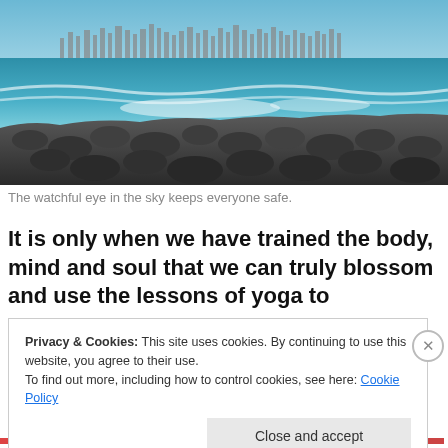[Figure (photo): Coastal beach photo with dark rocks in foreground, ocean waves in middle, and city skyline visible on the horizon under a blue sky.]
The watchful eye in the sky keeps everyone safe.
It is only when we have trained the body, mind and soul that we can truly blossom and use the lessons of yoga to
Privacy & Cookies: This site uses cookies. By continuing to use this website, you agree to their use.
To find out more, including how to control cookies, see here: Cookie Policy
Close and accept